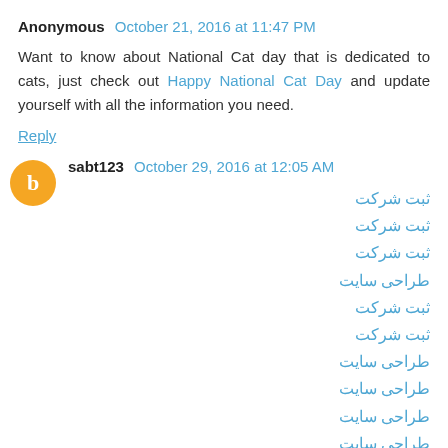Anonymous  October 21, 2016 at 11:47 PM
Want to know about National Cat day that is dedicated to cats, just check out Happy National Cat Day and update yourself with all the information you need.
Reply
sabt123  October 29, 2016 at 12:05 AM
ثبت شرکت
ثبت شرکت
ثبت شرکت
طراحی سایت
ثبت شرکت
ثبت شرکت
طراحی سایت
طراحی سایت
طراحی سایت
طراحی سایت
ثبت شرکت